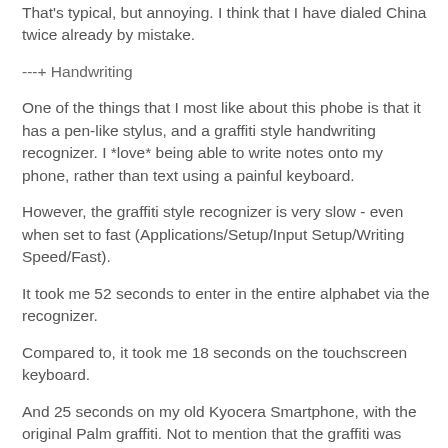That's typical, but annoying. I think that I have dialed China twice already by mistake.
---+ Handwriting
One of the things that I most like about this phobe is that it has a pen-like stylus, and a graffiti style handwriting recognizer. I *love* being able to write notes onto my phone, rather than text using a painful keyboard.
However, the graffiti style recognizer is very slow - even when set to fast (Applications/Setup/Input Setup/Writing Speed/Fast).
It took me 52 seconds to enter in the entire alphabet via the recognizer.
Compared to, it took me 18 seconds on the touchscreen keyboard.
And 25 seconds on my old Kyocera Smartphone, with the original Palm graffiti. Not to mention that the graffiti was more